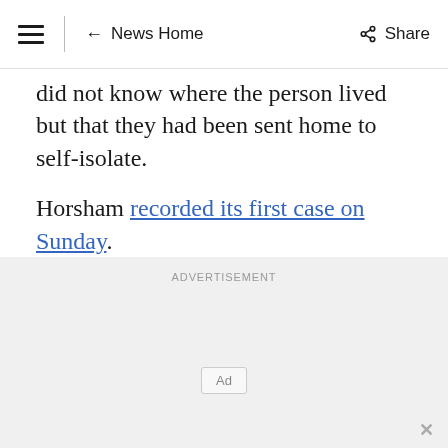≡ ← News Home  Share
did not know where the person lived but that they had been sent home to self-isolate.
Horsham recorded its first case on Sunday.
[Figure (other): Advertisement section with two Ad placeholder boxes and a close (×) button]